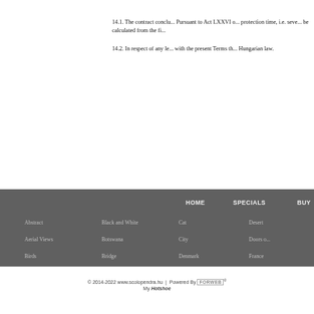14.1. The contract conclu... Pursuant to Act LXXVI o... protection time, i.e. sever... be calculated from the fi...
14.2. In respect of any le... with the present Terms th... Hungarian law.
HOME   SPECIALS   BUY
Abstract
Aerial Views
Birds
Black and White
Botswana
Bridge
Cat
City
Denmark
Desert
Doors o...
France
© 2014-2022 www.scolopendra.hu | Powered By FORWEB® My Hotshoe